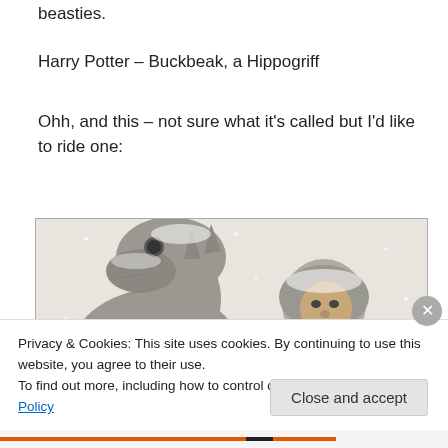beasties.
Harry Potter – Buckbeak, a Hippogriff
Ohh, and this – not sure what it's called but I'd like to ride one:
[Figure (photo): A person in a heavy snow-covered parka/fur-trimmed hood standing next to a large grey snow-covered creature (tauntaun-like animal from Star Wars), both covered in snow against a pale sky background.]
Privacy & Cookies: This site uses cookies. By continuing to use this website, you agree to their use.
To find out more, including how to control cookies, see here: Cookie Policy
Close and accept